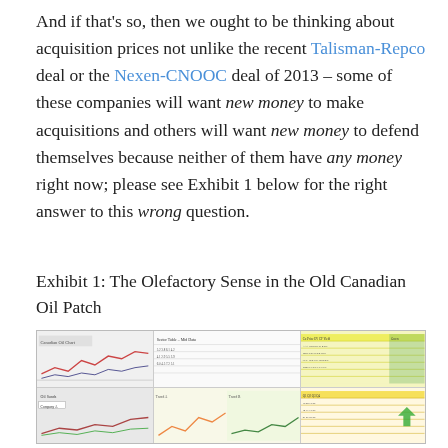And if that's so, then we ought to be thinking about acquisition prices not unlike the recent Talisman-Repco deal or the Nexen-CNOOC deal of 2013 – some of these companies will want new money to make acquisitions and others will want new money to defend themselves because neither of them have any money right now; please see Exhibit 1 below for the right answer to this wrong question.
Exhibit 1: The Olefactory Sense in the Old Canadian Oil Patch
[Figure (infographic): A composite thumbnail of financial data tables and charts about the Canadian oil patch, featuring yellow-highlighted data tables on the right and various line charts on the left, with some red elements.]